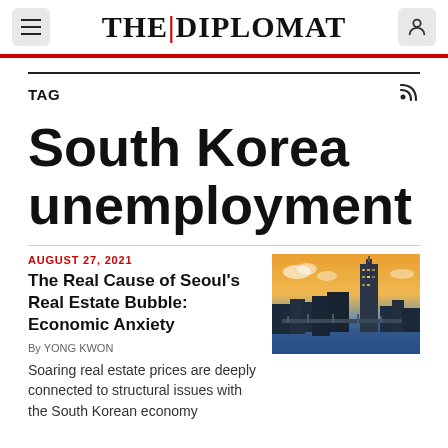THE | DIPLOMAT
TAG
South Korea unemployment
AUGUST 27, 2021
The Real Cause of Seoul's Real Estate Bubble: Economic Anxiety
By YONG KWON
[Figure (photo): Aerial photo of Seoul cityscape at sunset with skyscraper and river]
Soaring real estate prices are deeply connected to structural issues with the South Korean economy